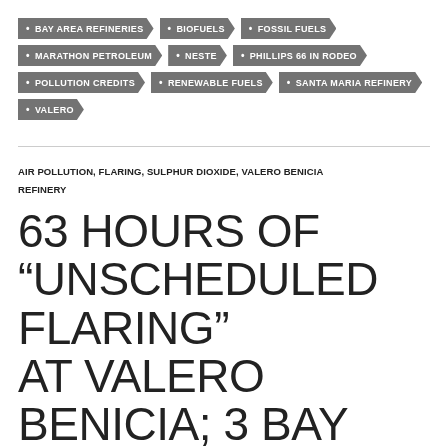BAY AREA REFINERIES
BIOFUELS
FOSSIL FUELS
MARATHON PETROLEUM
NESTE
PHILLIPS 66 IN RODEO
POLLUTION CREDITS
RENEWABLE FUELS
SANTA MARIA REFINERY
VALERO
AIR POLLUTION, FLARING, SULPHUR DIOXIDE, VALERO BENICIA REFINERY
63 HOURS OF “UNSCHEDULED FLARING” AT VALERO BENICIA; 3 BAY AREA REFINERY FLARING PROBLEMS INVESTIGATED